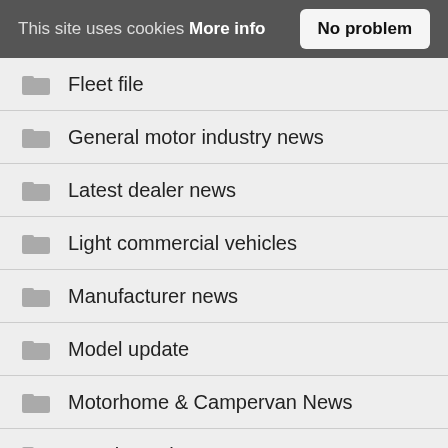This site uses cookies More info   No problem
Fleet file
General motor industry news
Latest dealer news
Light commercial vehicles
Manufacturer news
Model update
Motorhome & Campervan News
People on the move
Politics and regulation